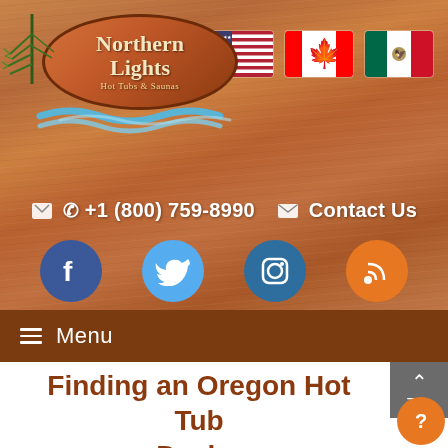[Figure (logo): Northern Lights Hot Tubs & Saunas logo with pine branch, oval shape, and blue water waves]
[Figure (illustration): Three country flags: USA, Canada, Mexico]
📞 +1 (800) 759-8990   ✉ Contact Us
[Figure (infographic): Social media icons: Facebook (blue circle), Twitter (light blue circle), Instagram (dark blue circle), RSS (orange circle)]
≡ Menu
Finding an Oregon Hot Tub Dealer
Finding an Oregon Hot Tub Dealer
Oregon is one of the states where hot tubs and spas are the most